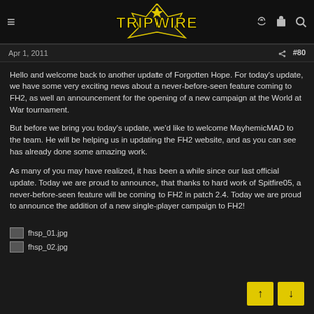Tripwire Interactive — Navigation header with logo, menu icon, and search/cart/key icons
Apr 1, 2011   #80
Hello and welcome back to another update of Forgotten Hope. For today's update, we have some very exciting news about a never-before-seen feature coming to FH2, as well an announcement for the opening of a new campaign at the World at War tournament.
But before we bring you today's update, we'd like to welcome MayhemicMAD to the team. He will be helping us in updating the FH2 website, and as you can see has already done some amazing work.
As many of you may have realized, it has been a while since our last official update. Today we are proud to announce, that thanks to hard work of Spitfire05, a never-before-seen feature will be coming to FH2 in patch 2.4. Today we are proud to announce the addition of a new single-player campaign to FH2!
[Figure (photo): fhsp_01.jpg — image placeholder]
[Figure (photo): fhsp_02.jpg — image placeholder]